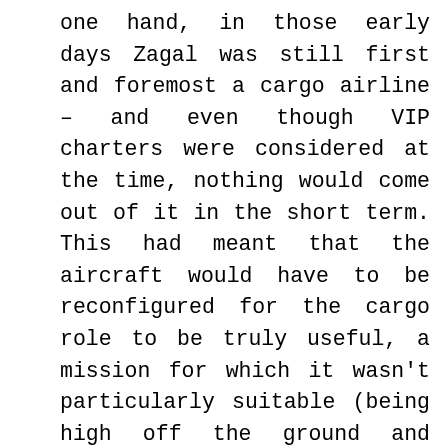one hand, in those early days Zagal was still first and foremost a cargo airline – and even though VIP charters were considered at the time, nothing would come out of it in the short term. This had meant that the aircraft would have to be reconfigured for the cargo role to be truly useful, a mission for which it wasn't particularly suitable (being high off the ground and lacking a proper cargo door). On the other hand, the financial issues were mostly tempered by the two fuel-to-noise converters on the jet's backside. Being a direct descendant of the original 60s Series 1 HS.125, BME was powered by a pair of